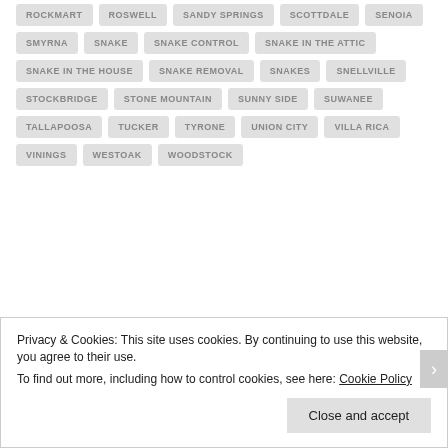ROCKMART
ROSWELL
SANDY SPRINGS
SCOTTDALE
SENOIA
SMYRNA
SNAKE
SNAKE CONTROL
SNAKE IN THE ATTIC
SNAKE IN THE HOUSE
SNAKE REMOVAL
SNAKES
SNELLVILLE
STOCKBRIDGE
STONE MOUNTAIN
SUNNY SIDE
SUWANEE
TALLAPOOSA
TUCKER
TYRONE
UNION CITY
VILLA RICA
VININGS
WESTOAK
WOODSTOCK
Privacy & Cookies: This site uses cookies. By continuing to use this website, you agree to their use.
To find out more, including how to control cookies, see here: Cookie Policy
Close and accept